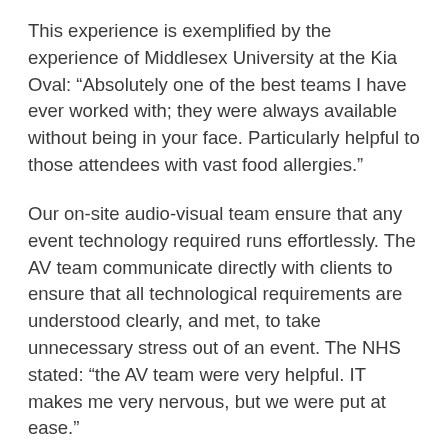This experience is exemplified by the experience of Middlesex University at the Kia Oval: “Absolutely one of the best teams I have ever worked with; they were always available without being in your face. Particularly helpful to those attendees with vast food allergies.”
Our on-site audio-visual team ensure that any event technology required runs effortlessly. The AV team communicate directly with clients to ensure that all technological requirements are understood clearly, and met, to take unnecessary stress out of an event. The NHS stated: “the AV team were very helpful. IT makes me very nervous, but we were put at ease.”
We have some very exciting times ahead as the venue has been granted full planning permission for another incredible three-tier stand comprising of two main rooms each with their own terrace, four breakout rooms and crowned with a magnificent Roof Terrace to rival the hugely popular Corinthian Roof Terrace. This construction will increase the maximum capacity of the Kia Oval to upwards